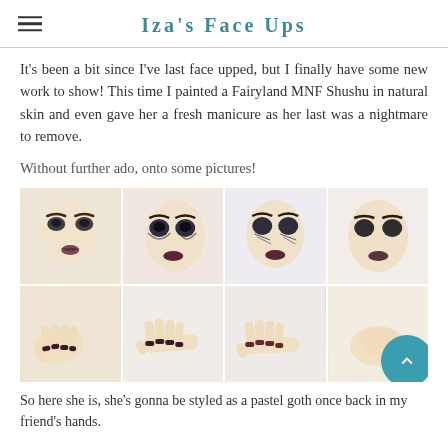Iza's Face Ups
It's been a bit since I've last face upped, but I finally have some new work to show! This time I painted a Fairyland MNF Shushu in natural skin and even gave her a fresh manicure as her last was a nightmare to remove.
Without further ado, onto some pictures!
[Figure (photo): A 2x4 grid of photos showing a BJD doll (Fairyland MNF Shushu) with face-up makeup from multiple angles (top row: 4 face shots) and manicured doll hands (bottom row: 4 hand shots). A teal back-to-top button overlays the bottom right corner.]
So here she is, she's gonna be styled as a pastel goth once back in my friend's hands.